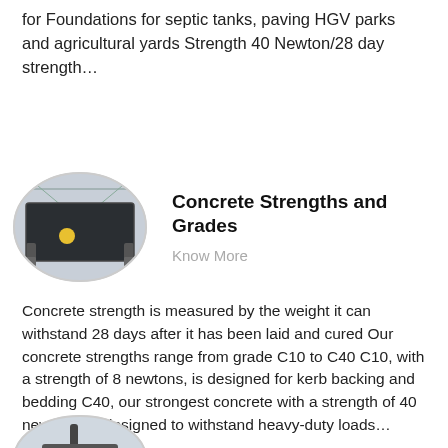for Foundations for septic tanks, paving HGV parks and agricultural yards Strength 40 Newton/28 day strength…
[Figure (photo): Oval-framed photo of a large dark concrete or metal panel/slab in an industrial warehouse setting with grey framing supports and a yellow circular element.]
Concrete Strengths and Grades
Know More
Concrete strength is measured by the weight it can withstand 28 days after it has been laid and cured Our concrete strengths range from grade C10 to C40 C10, with a strength of 8 newtons, is designed for kerb backing and bedding C40, our strongest concrete with a strength of 40 newtons, is designed to withstand heavy-duty loads…
[Figure (photo): Oval-framed photo of concrete mixing or construction equipment, partially visible at the bottom of the page.]
concrete mix ratio for c45